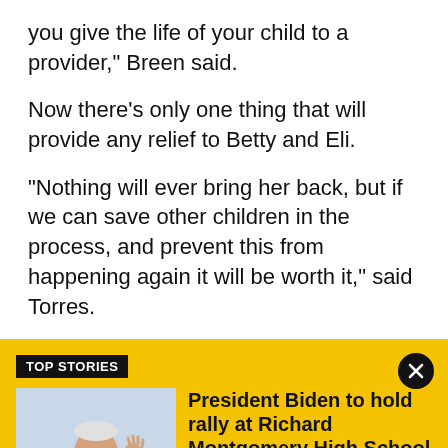you give the life of your child to a provider," Breen said.
Now there's only one thing that will provide any relief to Betty and Eli.
"Nothing will ever bring her back, but if we can save other children in the process, and prevent this from happening again it will be worth it," said Torres.
TOP STORIES
[Figure (photo): Photo of President Biden waving, wearing sunglasses and a dark suit]
President Biden to hold rally at Richard Montgomery High School
According to Montgomery County officials, Biden will visit Richard Montgomery High School in Rockville between 4-8 p.m.